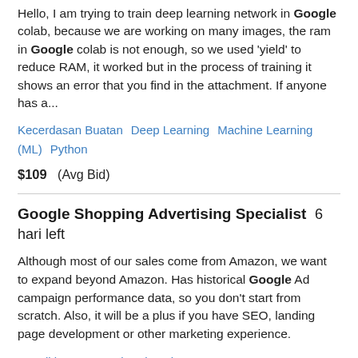Hello, I am trying to train deep learning network in Google colab, because we are working on many images, the ram in Google colab is not enough, so we used 'yield' to reduce RAM, it worked but in the process of training it shows an error that you find in the attachment. If anyone has a...
Kecerdasan Buatan   Deep Learning   Machine Learning (ML)   Python
$109  (Avg Bid)
Google Shopping Advertising Specialist  6 hari left
Although most of our sales come from Amazon, we want to expand beyond Amazon. Has historical Google Ad campaign performance data, so you don't start from scratch. Also, it will be a plus if you have SEO, landing page development or other marketing experience.
Pengiklanan   Google Adwords   Pemasaran Internet   Pemasaran   SEO